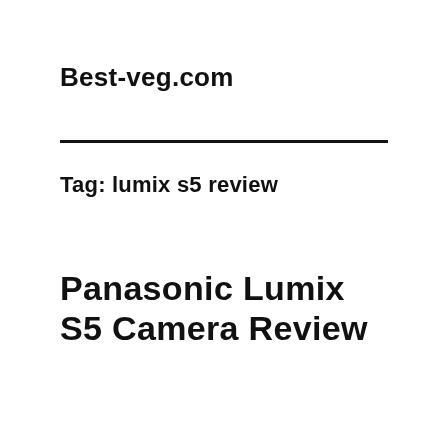Best-veg.com
Tag: lumix s5 review
Panasonic Lumix S5 Camera Review